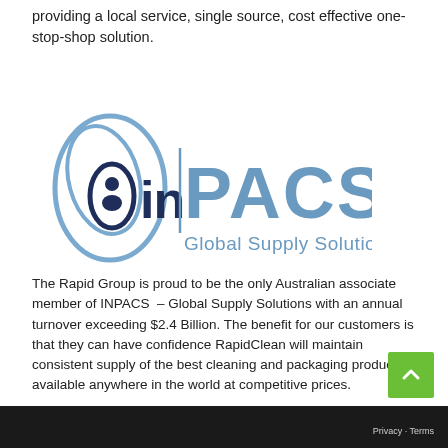providing a local service, single source, cost effective one-stop-shop solution.
[Figure (logo): INPACS Global Supply Solution logo — overlapping oval/circle shapes in dark navy and light blue on the left, with 'inPACS' text where 'in' is dark navy and 'PACS' is steel blue, and 'Global Supply Solution' subtitle in steel blue below.]
The Rapid Group is proud to be the only Australian associate member of INPACS  – Global Supply Solutions with an annual turnover exceeding $2.4 Billion. The benefit for our customers is that they can have confidence RapidClean will maintain consistent supply of the best cleaning and packaging products available anywhere in the world at competitive prices.